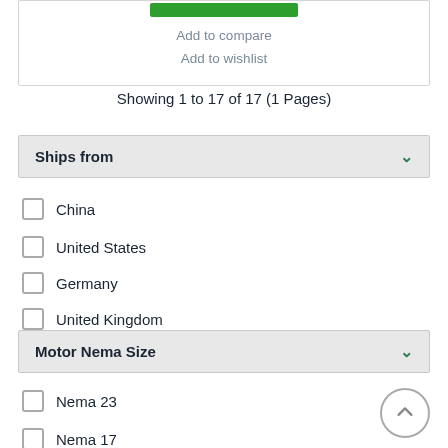[Figure (screenshot): Green button (Add to Cart) at top of product card]
Add to compare
Add to wishlist
Showing 1 to 17 of 17 (1 Pages)
Ships from
China
United States
Germany
United Kingdom
Motor Nema Size
Nema 23
Nema 17